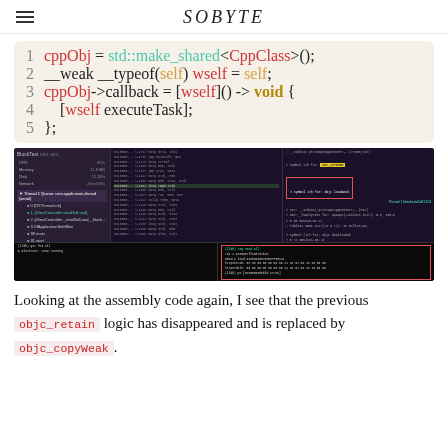SOBYTE
[Figure (screenshot): Code block showing Objective-C/C++ snippet with lines 1-5: cppObj = std::make_shared<CppClass>(); __weak __typeof(self) wself = self; cppObj->callback = [wself]() -> void { [wself executeTask]; };]
[Figure (screenshot): Xcode debugger screenshot showing thread list on left, assembly/disassembly in center, and debug output at bottom with highlighted boxes showing objc retain and objc copyWeak calls]
Looking at the assembly code again, I see that the previous objc_retain logic has disappeared and is replaced by objc_copyWeak.